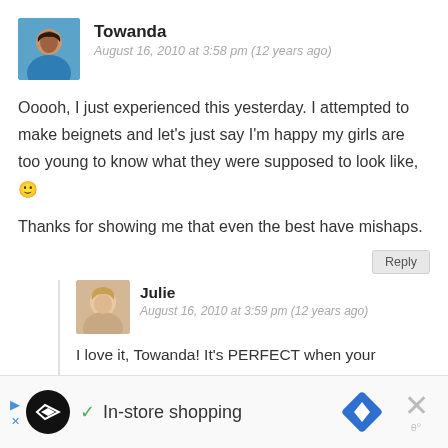[Figure (photo): Avatar photo of Towanda, a woman with short hair wearing a blue top]
Towanda
August 16, 2010 at 3:58 pm (12 years ago)
Ooooh, I just experienced this yesterday. I attempted to make beignets and let's just say I'm happy my girls are too young to know what they were supposed to look like, 🙂
Thanks for showing me that even the best have mishaps.
Reply
[Figure (photo): Avatar photo of Julie, a woman with blonde hair]
Julie
August 16, 2010 at 3:59 pm (12 years ago)
I love it, Towanda! It's PERFECT when your audience doesn't know exactly how a certain dish is
In-store shopping